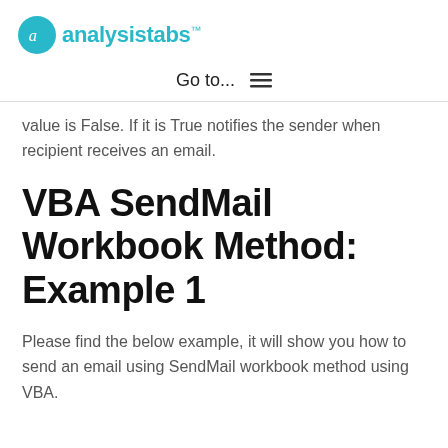analysistabs™
Go to... ☰
value is False. If it is True notifies the sender when recipient receives an email.
VBA SendMail Workbook Method: Example 1
Please find the below example, it will show you how to send an email using SendMail workbook method using VBA.